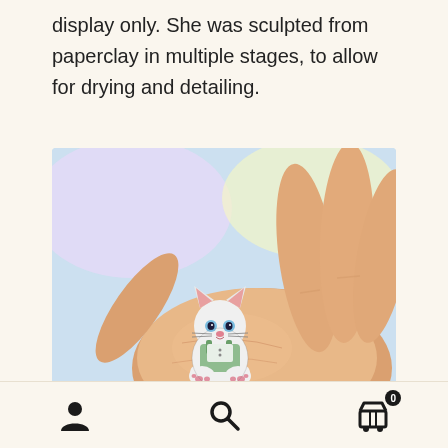display only. She was sculpted from paperclay in multiple stages, to allow for drying and detailing.
[Figure (photo): A tiny white cat figurine dressed in green overalls sitting in a person's open palm. The figurine has blue eyes and pink details. Watermark reads RUFFING'S COPYRIGHTED IMAGE.]
User icon, Search icon, Cart icon with badge showing 0